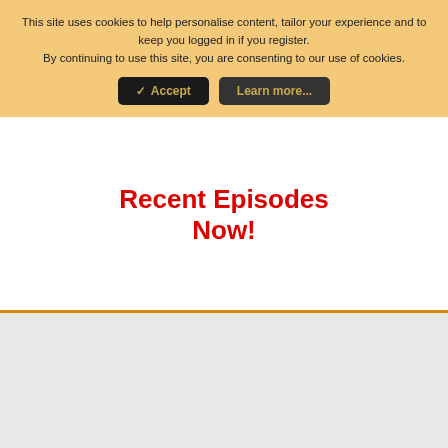This site uses cookies to help personalise content, tailor your experience and to keep you logged in if you register.
By continuing to use this site, you are consenting to our use of cookies.
[Figure (screenshot): Cookie consent banner with Accept and Learn more buttons on a tan/orange background]
Recent Episodes Now!
[Figure (logo): Ezoic logo with green circular icon]
report this ad
< Recently Sentenced and Beyond